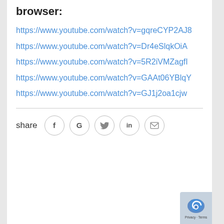browser:
https://www.youtube.com/watch?v=gqreCYP2AJ8
https://www.youtube.com/watch?v=Dr4eSlqkOiA
https://www.youtube.com/watch?v=5R2iVMZagfI
https://www.youtube.com/watch?v=GAAt06YBlqY
https://www.youtube.com/watch?v=GJ1j2oa1cjw
share [social share buttons: Facebook, Google, Twitter, LinkedIn, Email]
[Figure (logo): reCAPTCHA logo with Privacy and Terms text]